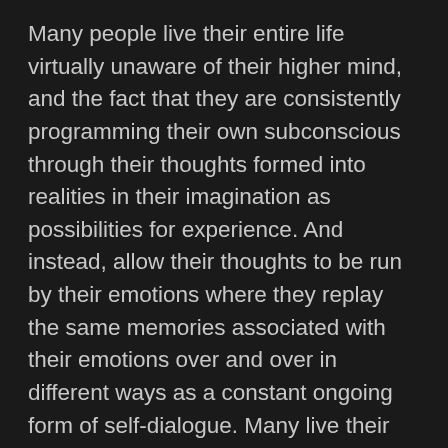Many people live their entire life virtually unaware of their higher mind, and the fact that they are consistently programming their own subconscious through their thoughts formed into realities in their imagination as possibilities for experience. And instead, allow their thoughts to be run by their emotions where they replay the same memories associated with their emotions over and over in different ways as a constant ongoing form of self-dialogue. Many live their entire life without ever realizing they're the one not only constructing their reality and experiences, but also have the ability to change it by evolving it into new variations by reforming it in their imagination as a way of "seeding" their own subconscious. When we develop an idea in our imagination, imbuing it with sensory details where it comes alive as an experience, while forming dialogue around it that tells a story about the